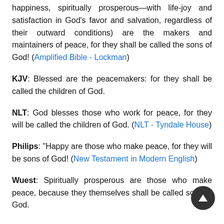happiness, spiritually prosperous—with life-joy and satisfaction in God's favor and salvation, regardless of their outward conditions) are the makers and maintainers of peace, for they shall be called the sons of God! (Amplified Bible - Lockman)
KJV: Blessed are the peacemakers: for they shall be called the children of God.
NLT: God blesses those who work for peace, for they will be called the children of God. (NLT - Tyndale House)
Philips: "Happy are those who make peace, for they will be sons of God! (New Testament in Modern English)
Wuest: Spiritually prosperous are those who make peace, because they themselves shall be called sons of God.